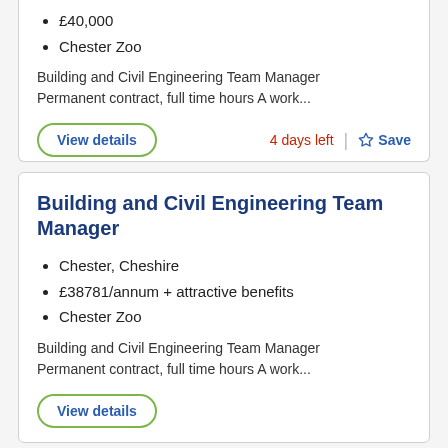£40,000
Chester Zoo
Building and Civil Engineering Team Manager Permanent contract, full time hours A work...
View details
4 days left
Save
Building and Civil Engineering Team Manager
Chester, Cheshire
£38781/annum + attractive benefits
Chester Zoo
Building and Civil Engineering Team Manager Permanent contract, full time hours A work...